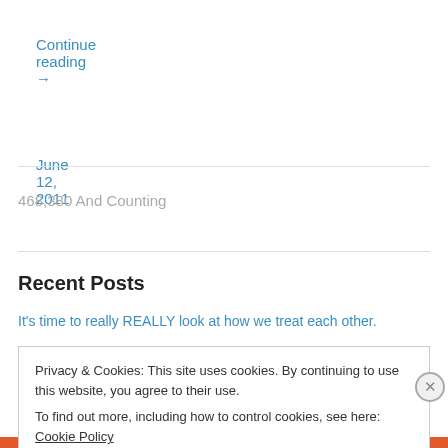Continue reading →
June 12, 2011
468,380 And Counting
Recent Posts
It's time to really REALLY look at how we treat each other.
Privacy & Cookies: This site uses cookies. By continuing to use this website, you agree to their use.
To find out more, including how to control cookies, see here: Cookie Policy
Close and accept